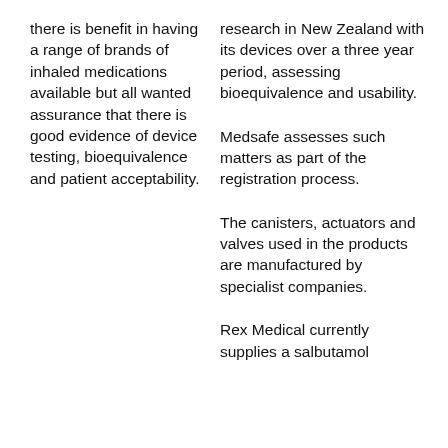there is benefit in having a range of brands of inhaled medications available but all wanted assurance that there is good evidence of device testing, bioequivalence and patient acceptability.
research in New Zealand with its devices over a three year period, assessing bioequivalence and usability.
Medsafe assesses such matters as part of the registration process.
The canisters, actuators and valves used in the products are manufactured by specialist companies.
Rex Medical currently supplies a salbutamol